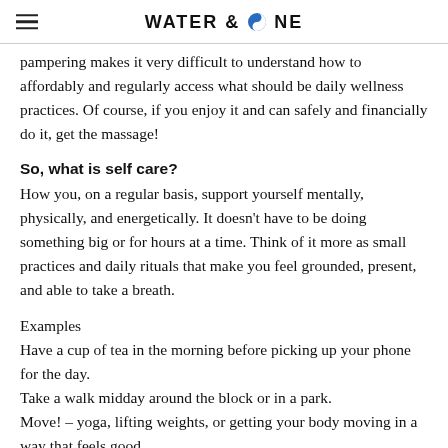WATER & STONE
pampering makes it very difficult to understand how to affordably and regularly access what should be daily wellness practices. Of course, if you enjoy it and can safely and financially do it, get the massage!
So, what is self care?
How you, on a regular basis, support yourself mentally, physically, and energetically. It doesn't have to be doing something big or for hours at a time. Think of it more as small practices and daily rituals that make you feel grounded, present, and able to take a breath.
Examples
Have a cup of tea in the morning before picking up your phone for the day.
Take a walk midday around the block or in a park.
Move! – yoga, lifting weights, or getting your body moving in a way that feels good.